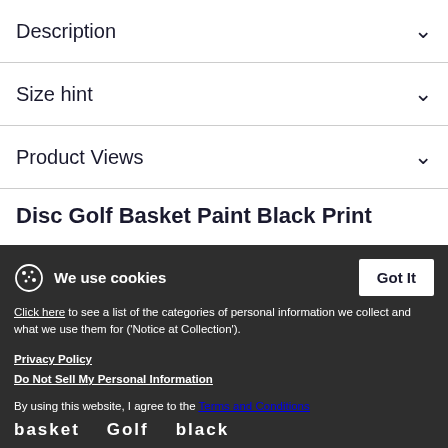Description
Size hint
Product Views
Disc Golf Basket Paint Black Print
[Figure (photo): Black paint splatter illustration of a disc golf basket chain catcher]
We use cookies
Click here to see a list of the categories of personal information we collect and what we use them for ('Notice at Collection').
Privacy Policy
Do Not Sell My Personal Information
By using this website, I agree to the Terms and Conditions
basket   Golf   black